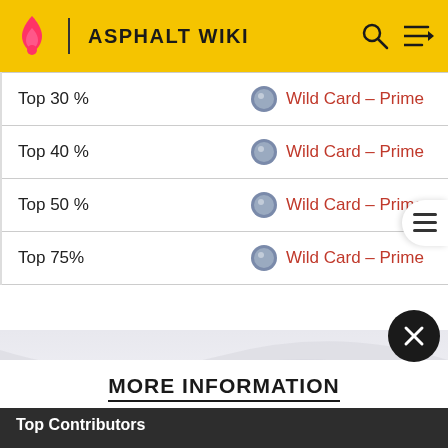ASPHALT WIKI
| Rank | Reward |
| --- | --- |
| Top 30 % | Wild Card – Prime |
| Top 40 % | Wild Card – Prime |
| Top 50 % | Wild Card – Prime |
| Top 75% | Wild Card – Prime |
MORE INFORMATION
Top Contributors
Comments (0)
Categories